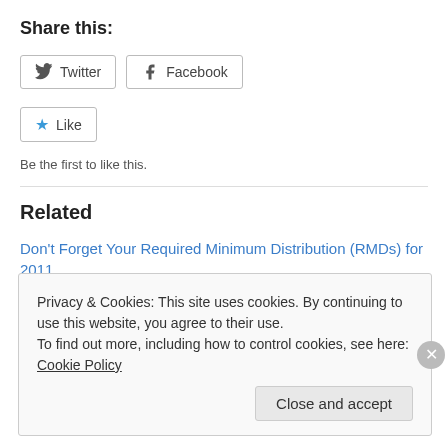Share this:
[Figure (screenshot): Share buttons for Twitter and Facebook]
[Figure (screenshot): Like button with star icon and 'Be the first to like this.' text]
Be the first to like this.
Related
Don't Forget Your Required Minimum Distribution (RMDs) for 2011
December 13, 2011
In "Tax and Money Tip of the Week"
Privacy & Cookies: This site uses cookies. By continuing to use this website, you agree to their use.
To find out more, including how to control cookies, see here: Cookie Policy
Close and accept